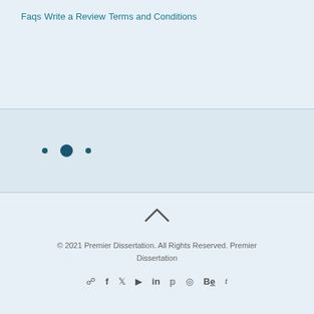Faqs
Write a Review
Terms and Conditions
[Figure (other): Three small dot icons in a row, possibly pagination or decorative dots]
[Figure (other): Upward chevron arrow icon for scroll to top]
© 2021 Premier Dissertation. All Rights Reserved. Premier Dissertation
[Figure (other): Social media icons row: WhatsApp, Facebook, Twitter, YouTube/Play, LinkedIn, Pinterest, Instagram, Behance, Tumblr]